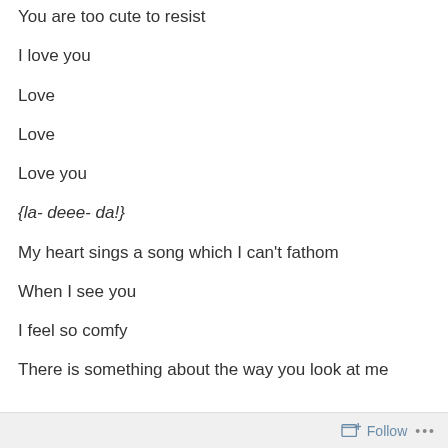You are too cute to resist
I love you
Love
Love
Love you
{la- deee- da!}
My heart sings a song which I can't fathom
When I see you
I feel so comfy
There is something about the way you look at me
Follow ...